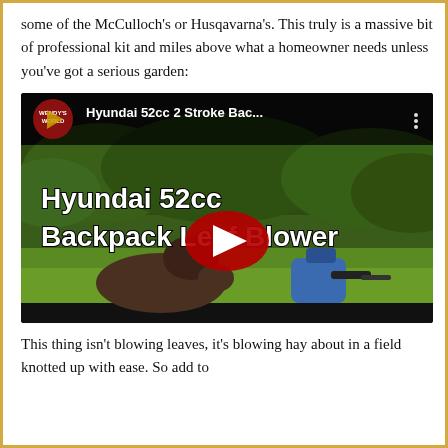some of the McCulloch's or Husqavarna's. This truly is a massive bit of professional kit and miles above what a homeowner needs unless you've got a serious garden:
[Figure (screenshot): YouTube video thumbnail for 'Hyundai 52cc 2 Stroke Bac...' showing a dog on a lawn next to a blue backpack leaf blower, with bold white title text 'Hyundai 52cc Backpack Leaf Blower' and a red YouTube play button in the center. Channel logo (Wendys World) visible top left.]
This thing isn't blowing leaves, it's blowing hay about in a field knotted up with ease. So add to